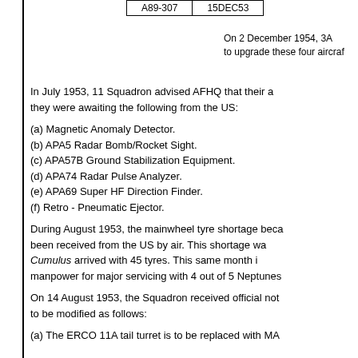| A89-307 | 15DEC53 |
| --- | --- |
On 2 December 1954, 3A... to upgrade these four aircraf...
In July 1953, 11 Squadron advised AFHQ that their a... they were awaiting the following from the US:
(a) Magnetic Anomaly Detector.
(b) APA5 Radar Bomb/Rocket Sight.
(c) APA57B Ground Stabilization Equipment.
(d) APA74 Radar Pulse Analyzer.
(e) APA69 Super HF Direction Finder.
(f) Retro - Pneumatic Ejector.
During August 1953, the mainwheel tyre shortage beca... been received from the US by air. This shortage wa... Cumulus arrived with 45 tyres. This same month i... manpower for major servicing with 4 out of 5 Neptunes...
On 14 August 1953, the Squadron received official not... to be modified as follows:
(a) The ERCO 11A tail turret is to be replaced with MA...